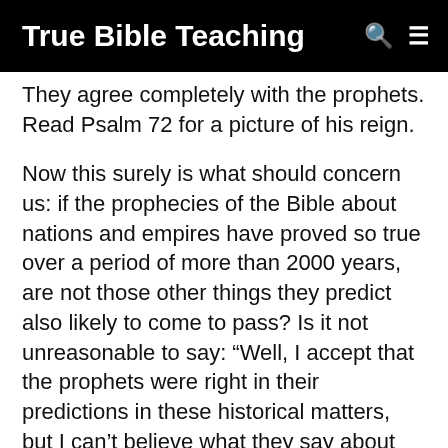True Bible Teaching
They agree completely with the prophets. Read Psalm 72 for a picture of his reign.
Now this surely is what should concern us: if the prophecies of the Bible about nations and empires have proved so true over a period of more than 2000 years, are not those other things they predict also likely to come to pass? Is it not unreasonable to say: “Well, I accept that the prophets were right in their predictions in these historical matters, but I can’t believe what they say about the future for us.” Why not? They have given evidence that they were setting out not their own ideas, but the very purposes of God. Whatever else they say must surely claim from us all the most careful attention.